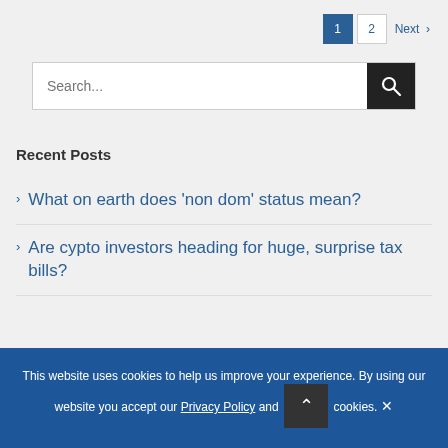1  2  Next >
Search...
Recent Posts
What on earth does 'non dom' status mean?
Are cypto investors heading for huge, surprise tax bills?
This website uses cookies to help us improve your experience. By using our website you accept our Privacy Policy and cookies.